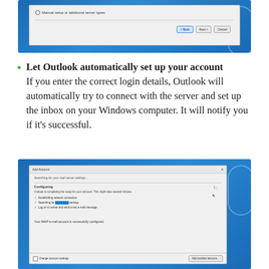[Figure (screenshot): Screenshot of Outlook Add Account dialog showing 'Manual setup or additional server types' radio option with Back, Next, and Cancel buttons]
Let Outlook automatically set up your account If you enter the correct login details, Outlook will automatically try to connect with the server and set up the inbox on your Windows computer. It will notify you if it's successful.
[Figure (screenshot): Screenshot of Outlook Add Account dialog showing 'Searching for your mail server settings...' with Configuring section displaying checkmarks for Establishing network connection, Searching for email settings, Log on to server and send a test e-mail message. Bottom shows 'Your IMAP e-mail account is successfully configured.' with Change account settings checkbox and Add another account button.]